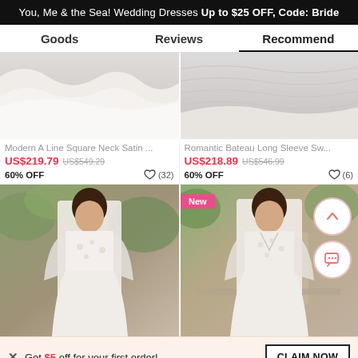You, Me & the Sea! Wedding Dresses Up to $25 OFF, Code: Bride
Goods | Reviews | Recommend
[Figure (photo): Two product images of wedding dresses - left shows bottom of A-line satin dress, right shows bottom of a sweetheart gown]
Modern A Line Square Neck Satin ...
US$219.79  US$549.29  60% OFF  ♡ (32)
Romantic Bateau Long Sleeve Sw...
US$218.89  US$546.99  60% OFF  ♡ (6)
[Figure (photo): Two model photos wearing white wedding dresses outdoors - left model has sheer long sleeves with floral bodice, right model has lace long sleeves, with New badge and scroll/chat buttons]
Get $5 off for your first order!
CLAIM NOW
♡ 22   ADD TO BAG